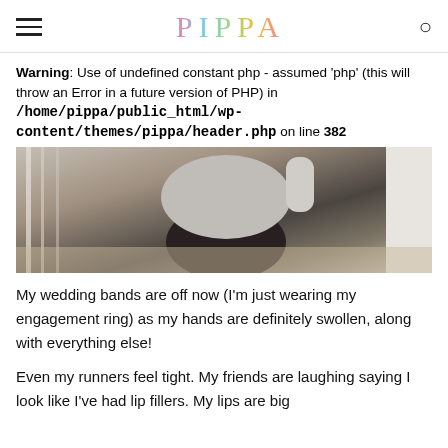PIPPA
Warning: Use of undefined constant php - assumed 'php' (this will throw an Error in a future version of PHP) in /home/pippa/public_html/wp-content/themes/pippa/header.php on line 382
[Figure (photo): A person wearing a grey sweatshirt and dark leggings, photographed from the side/back near a staircase banister.]
My wedding bands are off now (I'm just wearing my engagement ring) as my hands are definitely swollen, along with everything else!
Even my runners feel tight. My friends are laughing saying I look like I've had lip fillers. My lips are big